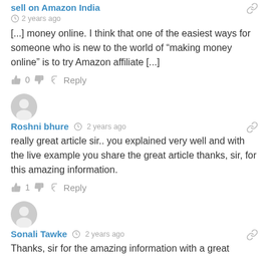sell on Amazon India
2 years ago
[...] money online. I think that one of the easiest ways for someone who is new to the world of “making money online” is to try Amazon affiliate [...]
0  Reply
Roshni bhure  2 years ago
really great article sir.. you explained very well and with the live example you share the great article thanks, sir, for this amazing information.
1  Reply
Sonali Tawke  2 years ago
Thanks, sir for the amazing information with a great